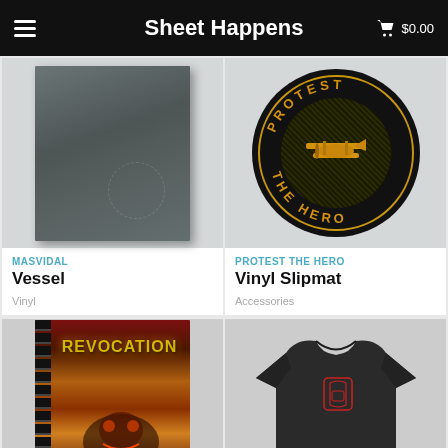Sheet Happens  $0.00
[Figure (photo): Masvidal Vessel vinyl record cover — dark grey/green square album sleeve]
MASVIDAL
Vessel
Vinyl
[Figure (photo): Protest The Hero vinyl slipmat — circular black mat with yellow biplane graphic and text PROTEST THE HERO around the edge]
PROTEST THE HERO
Vinyl Slipmat
Accessories
[Figure (photo): Revocation spiral-bound notebook with metal/death-metal artwork cover featuring creature and fire imagery with yellow band logo]
[Figure (photo): Dark grey/black t-shirt with small red gothic window or arch logo on chest]